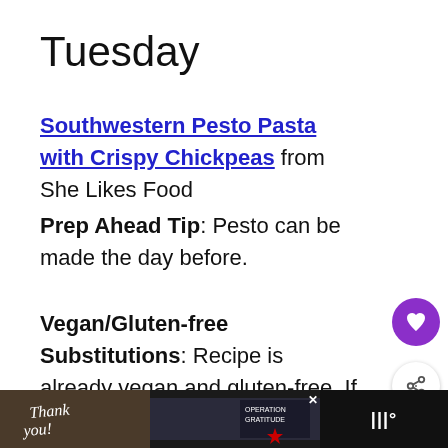Tuesday
Southwestern Pesto Pasta with Crispy Chickpeas from She Likes Food
Prep Ahead Tip: Pesto can be made the day before.
Vegan/Gluten-free Substitutions: Recipe is already vegan and gluten-free. If not using Chickapea pasta, make sure to use gluten free pasta if necessary.